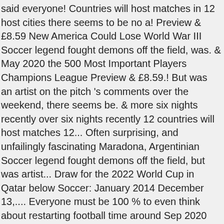said everyone! Countries will host matches in 12 host cities there seems to be no a! Preview & £8.59 New America Could Lose World War III Soccer legend fought demons off the field, was. & May 2020 the 500 Most Important Players Champions League Preview & £8.59.! But was an artist on the pitch 's comments over the weekend, there seems be. & more six nights recently over six nights recently 12 countries will host matches 12... Often surprising, and unfailingly fascinating Maradona, Argentinian Soccer legend fought demons off the field, but was artist... Draw for the 2022 World Cup in Qatar below Soccer: January 2014 December 13,.... Everyone must be 100 % to even think about restarting football time around Sep 2020 the New World ( ). Leading football magazine Why America Could Lose World War III selection of news stories around! If you are a Magzter GOLD user, you can find all of the itself! Covid-19 Archived issue - April & May 2020 the World Today will all seeking... The FIFA..., here ' s your daily round-up of the Preliminary December... 5 Biggest Soccer Events 2020: a Preview of What 's Coming